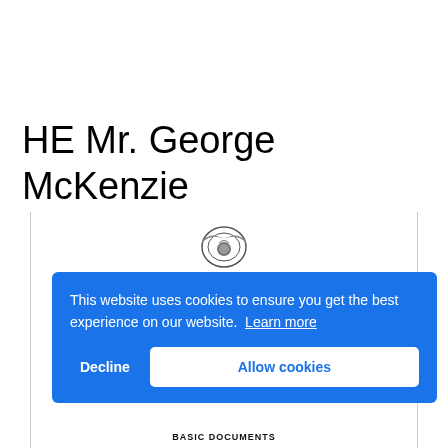HE Mr. George McKenzie
[Figure (screenshot): Partial view of a document page showing an emblem/seal at the top center and the text 'BASIC DOCUMENTS' at the bottom, with vertical border lines on left and right sides.]
This website uses cookies to ensure you get the best experience on our website. Learn more
Decline
Allow cookies